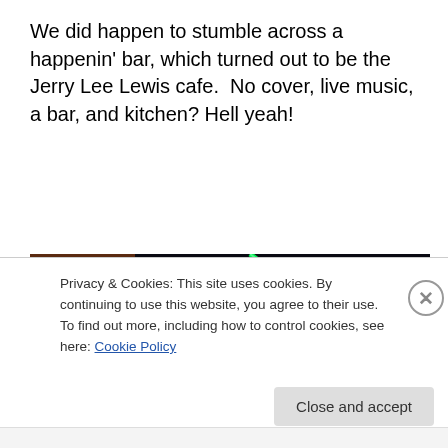We did happen to stumble across a happenin' bar, which turned out to be the Jerry Lee Lewis cafe.  No cover, live music, a bar, and kitchen? Hell yeah!
[Figure (photo): Night photo of Jerry Lee Lewis cafe sign — a neon sign in yellow cursive reading 'Jerry Lee Lewis' with blue neon music note decorations, green neon strip light, and a railing of a building visible on the left.]
Privacy & Cookies: This site uses cookies. By continuing to use this website, you agree to their use.
To find out more, including how to control cookies, see here: Cookie Policy
Close and accept